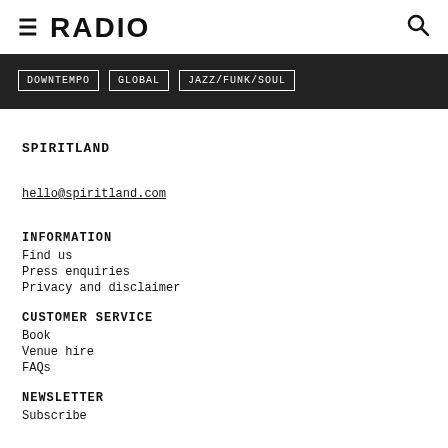≡ RADIO 🔍
DOWNTEMPO  GLOBAL  JAZZ/FUNK/SOUL
SPIRITLAND
hello@spiritland.com
INFORMATION
Find us
Press enquiries
Privacy and disclaimer
CUSTOMER SERVICE
Book
Venue hire
FAQs
NEWSLETTER
Subscribe